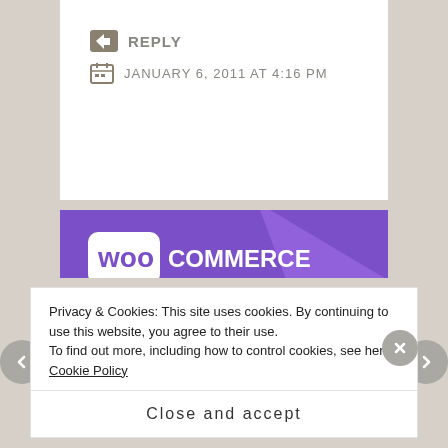REPLY
JANUARY 6, 2011 AT 4:16 PM
[Figure (screenshot): WooCommerce promotional image showing the WooCommerce logo on a purple background with teal and blue geometric shapes and the text 'How to start selling subscriptions online' with a purple button below]
Privacy & Cookies: This site uses cookies. By continuing to use this website, you agree to their use.
To find out more, including how to control cookies, see here: Cookie Policy
Close and accept